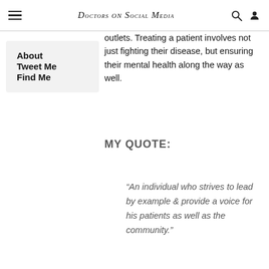Doctors on Social Media
About
Tweet Me
Find Me
outlets. Treating a patient involves not just fighting their disease, but ensuring their mental health along the way as well.
MY QUOTE:
“An individual who strives to lead by example & provide a voice for his patients as well as the community.”